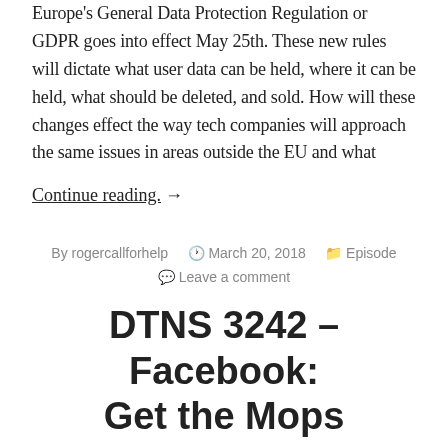Europe's General Data Protection Regulation or GDPR goes into effect May 25th. These new rules will dictate what user data can be held, where it can be held, what should be deleted, and sold. How will these changes effect the way tech companies will approach the same issues in areas outside the EU and what
Continue reading. →
By rogercallforhelp   March 20, 2018   Episode   Leave a comment
DTNS 3242 – Facebook: Get the Mops